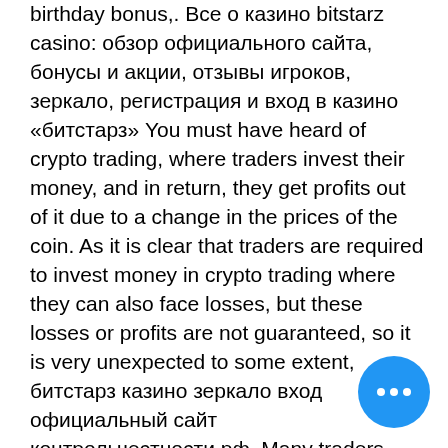birthday bonus,. Все о казино bitstarz casino: обзор официального сайта, бонусы и акции, отзывы игроков, зеркало, регистрация и вход в казино «битстарз» You must have heard of crypto trading, where traders invest their money, and in return, they get profits out of it due to a change in the prices of the coin. As it is clear that traders are required to invest money in crypto trading where they can also face losses, but these losses or profits are not guaranteed, so it is very unexpected to some extent, битстарз казино зеркало вход официальный сайт контрольчестности.рф. Many traders have been trading crypto and have gained enough experience to pretty much lower the chances of loss in crypto trading, but still, it happens to the best of them as well. Due to the risk of loss and inexperience, many new traders prefer staying away from crypto trading, but back in 2010, an innovation was introduced known